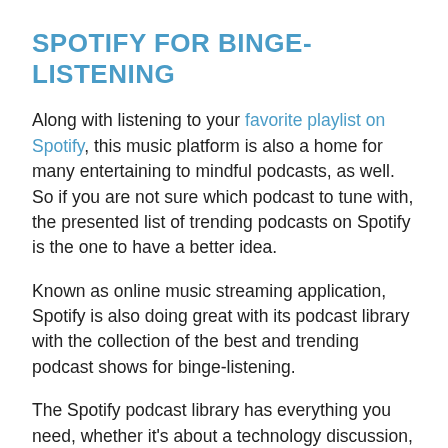SPOTIFY FOR BINGE-LISTENING
Along with listening to your favorite playlist on Spotify, this music platform is also a home for many entertaining to mindful podcasts, as well. So if you are not sure which podcast to tune with, the presented list of trending podcasts on Spotify is the one to have a better idea.
Known as online music streaming application, Spotify is also doing great with its podcast library with the collection of the best and trending podcast shows for binge-listening.
The Spotify podcast library has everything you need, whether it's about a technology discussion, general life topics, or bedtime